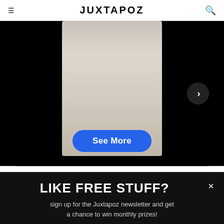JUXTAPOZ
[Figure (photo): Dark background with a centered blurred image of a glossy cylindrical object (bottle/container), with a blue 'See More' button overlay and a right-arrow navigation button]
LIKE FREE STUFF?
sign up for the Juxtapoz newsletter and get a chance to win monthly prizes!
example@example.com